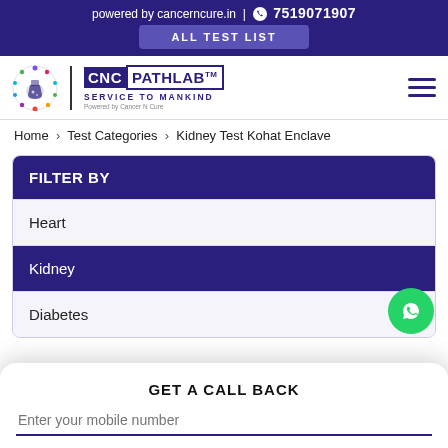powered by cancerncure.in | 7519071907
ALL TEST LIST
[Figure (logo): CNC Pathlab logo with circular emblem, Service to Mankind tagline, Powered by Cancer N Cure]
Home > Test Categories > Kidney Test Kohat Enclave
FILTER BY
Heart
Kidney
Diabetes
GET A CALL BACK
Enter your mobile number